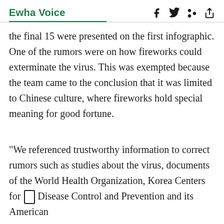Ewha Voice
the final 15 were presented on the first infographic. One of the rumors were on how fireworks could exterminate the virus. This was exempted because the team came to the conclusion that it was limited to Chinese culture, where fireworks hold special meaning for good fortune.
“We referenced trustworthy information to correct rumors such as studies about the virus, documents of the World Health Organization, Korea Centers for Disease Control and Prevention and its American counterpart,”